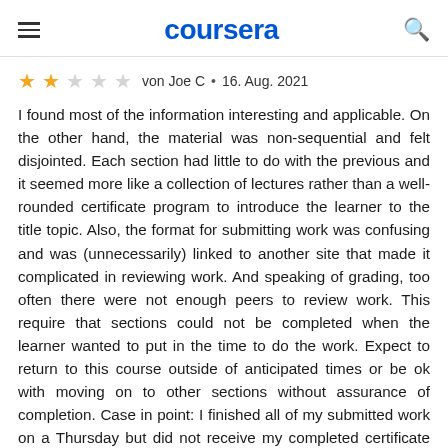coursera
★★☆☆☆ von Joe C • 16. Aug. 2021
I found most of the information interesting and applicable. On the other hand, the material was non-sequential and felt disjointed. Each section had little to do with the previous and it seemed more like a collection of lectures rather than a well-rounded certificate program to introduce the learner to the title topic. Also, the format for submitting work was confusing and was (unnecessarily) linked to another site that made it complicated in reviewing work. And speaking of grading, too often there were not enough peers to review work. This require that sections could not be completed when the learner wanted to put in the time to do the work. Expect to return to this course outside of anticipated times or be ok with moving on to other sections without assurance of completion. Case in point: I finished all of my submitted work on a Thursday but did not receive my completed certificate until the next Monday. On the other hand, it is a short course and can be completed quicker than other